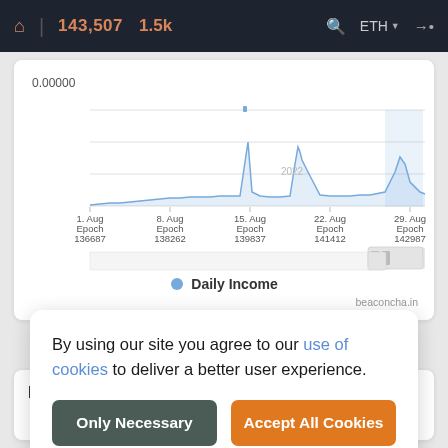143,507  1.5k   ETH
[Figure (line-chart): Line chart showing daily income over August epochs. Near-zero baseline with spikes around 15 Aug and 22 Aug, and a highlighted region near 29 Aug.]
● Daily Income
beaconcha.in
By using our site you agree to our use of cookies to deliver a better user experience.
Only Necessary
Accept All Cookies